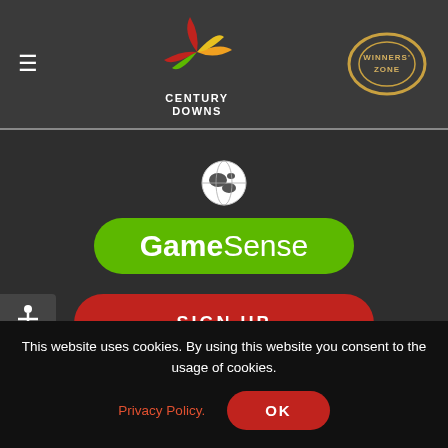[Figure (logo): Century Downs logo with colorful starburst icon and text CENTURY DOWNS]
[Figure (logo): Winners' Zone circular logo with text WINNERS' ZONE]
[Figure (logo): Globe icon above GameSense green pill button]
[Figure (logo): GameSense green rounded button logo]
[Figure (infographic): Accessibility stick figure icon on dark grey square]
[Figure (infographic): Red SIGN UP button]
[Figure (infographic): Social media icons: Facebook, Twitter, Instagram, YouTube]
This website uses cookies. By using this website you consent to the usage of cookies.
Privacy Policy.
OK